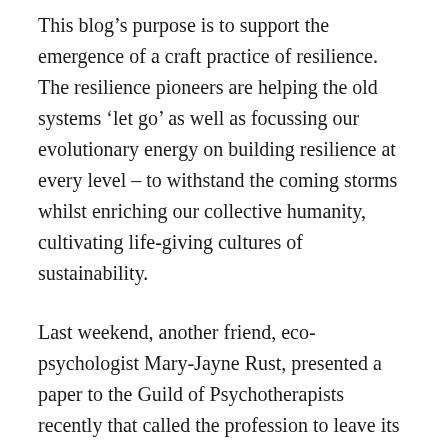This blog's purpose is to support the emergence of a craft practice of resilience. The resilience pioneers are helping the old systems 'let go' as well as focussing our evolutionary energy on building resilience at every level – to withstand the coming storms whilst enriching our collective humanity, cultivating life-giving cultures of sustainability.
Last weekend, another friend, eco-psychologist Mary-Jayne Rust, presented a paper to the Guild of Psychotherapists recently that called the profession to leave its couch and engage in the corridors of power, equiping us with the psycho-dynamic wherewithall to comprehend the processes of denial and projection which threaten to bury our collective heads deeper into